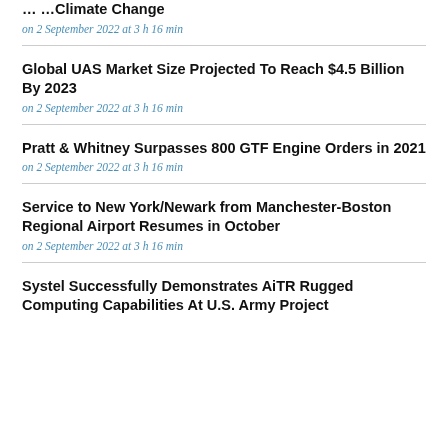… Climate Change
on 2 September 2022 at 3 h 16 min
Global UAS Market Size Projected To Reach $4.5 Billion By 2023
on 2 September 2022 at 3 h 16 min
Pratt & Whitney Surpasses 800 GTF Engine Orders in 2021
on 2 September 2022 at 3 h 16 min
Service to New York/Newark from Manchester-Boston Regional Airport Resumes in October
on 2 September 2022 at 3 h 16 min
Systel Successfully Demonstrates AiTR Rugged Computing Capabilities At U.S. Army Project